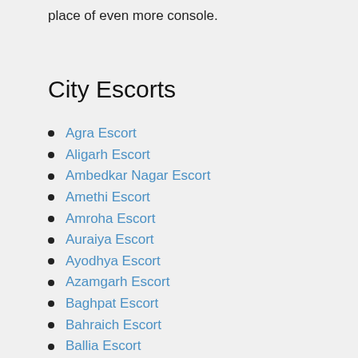place of even more console.
City Escorts
Agra Escort
Aligarh Escort
Ambedkar Nagar Escort
Amethi Escort
Amroha Escort
Auraiya Escort
Ayodhya Escort
Azamgarh Escort
Baghpat Escort
Bahraich Escort
Ballia Escort
Balrampur Escort